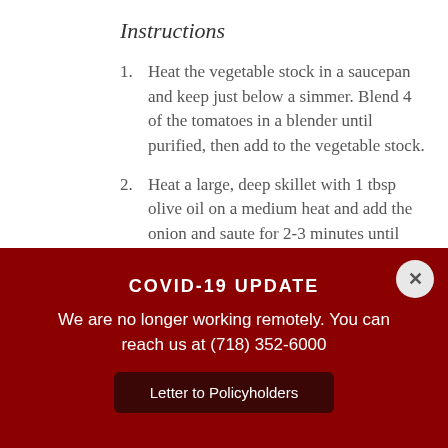Instructions
1. Heat the vegetable stock in a saucepan and keep just below a simmer. Blend 4 of the tomatoes in a blender until purified, then add to the vegetable stock.
2. Heat a large, deep skillet with 1 tbsp olive oil on a medium heat and add the onion and saute for 2-3 minutes until
COVID-19 UPDATE
We are no longer working remotely. You can reach us at (718) 352-6000
Letter to Policyholders